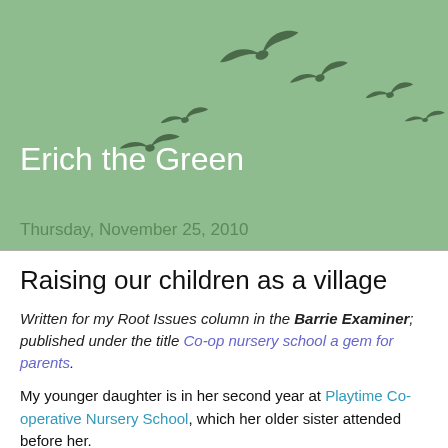[Figure (illustration): Birds silhouettes flying in a curved arc on a green background]
Erich the Green
Thursday, November 25, 2010
Raising our children as a village
Written for my Root Issues column in the Barrie Examiner; published under the title Co-op nursery school a gem for parents.
My younger daughter is in her second year at Playtime Co-operative Nursery School, which her older sister attended before her.
Established in 1973, Playtime is operated and administered by parent volunteers, the first such non-profit co-op in Barrie